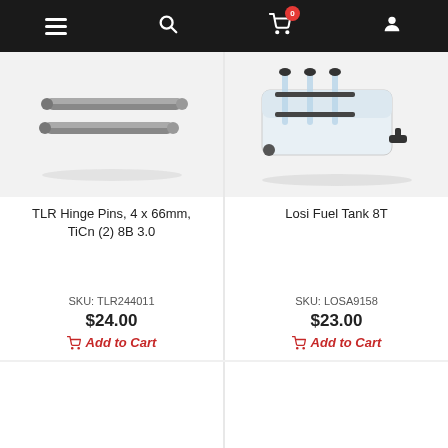[Figure (screenshot): Mobile e-commerce website navigation bar with hamburger menu, search, cart (0 items), and user account icons on black background]
[Figure (photo): TLR Hinge Pins, 4 x 66mm, TiCn (2) 8B 3.0 - two titanium coated metal rods on white/grey background]
TLR Hinge Pins, 4 x 66mm, TiCn (2) 8B 3.0
SKU: TLR244011
$24.00
Add to Cart
[Figure (photo): Losi Fuel Tank 8T - white plastic fuel tank with black tubing and connectors on white background]
Losi Fuel Tank 8T
SKU: LOSA9158
$23.00
Add to Cart